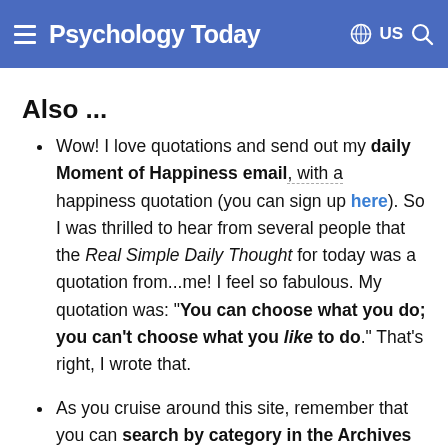Psychology Today  US
Also ...
Wow! I love quotations and send out my daily Moment of Happiness email, with a happiness quotation (you can sign up here). So I was thrilled to hear from several people that the Real Simple Daily Thought for today was a quotation from...me! I feel so fabulous. My quotation was: "You can choose what you do; you can't choose what you like to do." That's right, I wrote that.
As you cruise around this site, remember that you can search by category in the Archives for your favorite features (videos, tips